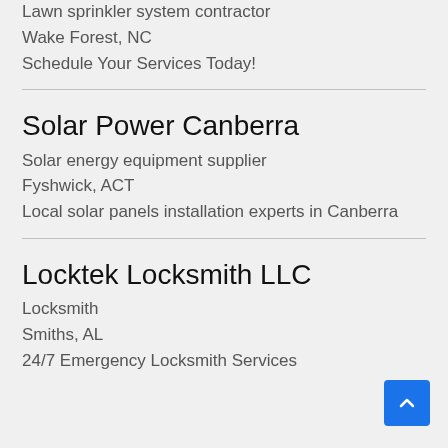Lawn sprinkler system contractor
Wake Forest, NC
Schedule Your Services Today!
Solar Power Canberra
Solar energy equipment supplier
Fyshwick, ACT
Local solar panels installation experts in Canberra
Locktek Locksmith LLC
Locksmith
Smiths, AL
24/7 Emergency Locksmith Services